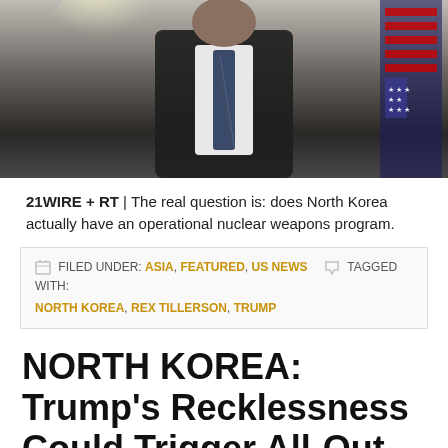[Figure (photo): Photo of a man in a dark suit with a patterned tie, standing in front of a chandelier and an American flag]
21WIRE + RT | The real question is: does North Korea actually have an operational nuclear weapons program.
FILED UNDER: ASIA, FEATURED, US NEWS   TAGGED WITH: NORTH KOREA, REX TILLERSON, TRUMP
NORTH KOREA: Trump's Recklessness Could Trigger All-Out Conflict on Korean Peninsula
JUNE 22, 2017 BY NEWS WIRE   3 COMMENTS